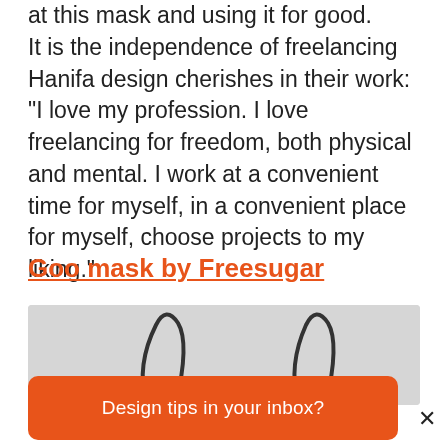at this mask and using it for good.
It is the independence of freelancing Hanifa design cherishes in their work: “I love my profession. I love freelancing for freedom, both physical and mental. I work at a convenient time for myself, in a convenient place for myself, choose projects to my liking.”
Goo mask by Freesugar
[Figure (photo): Photo of a goo mask product on a grey background, showing cat-like ear shapes at the top of the mask]
Design tips in your inbox?